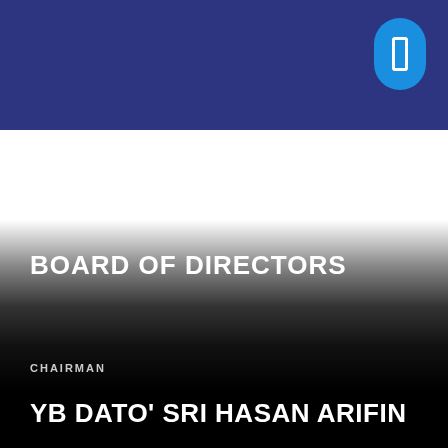[Figure (photo): Portrait photo of a person, shown in a white area below the navy header, with a gradient fade to black below.]
BOARD OF DIRECTORS
CHAIRMAN
YB DATO' SRI HASAN ARIFIN